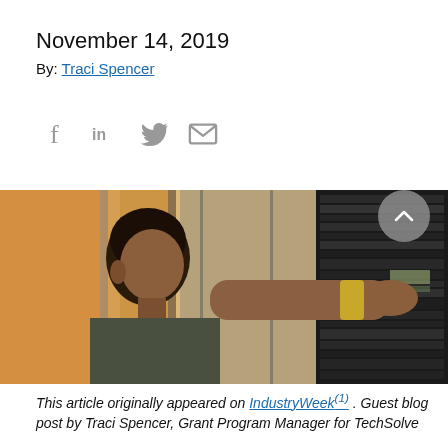November 14, 2019
By: Traci Spencer
[Figure (other): Social media share icons: Facebook (f), LinkedIn (in), Twitter bird, Email envelope — all in grey]
[Figure (photo): A person reaching toward server rack equipment in a data center, with glass panels and warm ambient lighting visible in the background.]
This article originally appeared on IndustryWeek . Guest blog post by Traci Spencer, Grant Program Manager for TechSolve